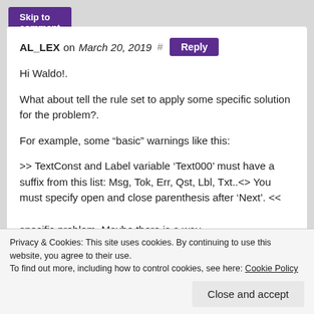Skip to comment form
AL_LEX on March 20, 2019 # Reply
Hi Waldo!.
What about tell the rule set to apply some specific solution for the problem?.
For example, some “basic” warnings like this:
>> TextConst and Label variable ‘Text000’ must have a suffix from this list: Msg, Tok, Err, Qst, Lbl, Txt..<> You must specify open and close parenthesis after ‘Next’. <<
specific problem. Maybe there is a way...
Privacy & Cookies: This site uses cookies. By continuing to use this website, you agree to their use.
To find out more, including how to control cookies, see here: Cookie Policy
Close and accept